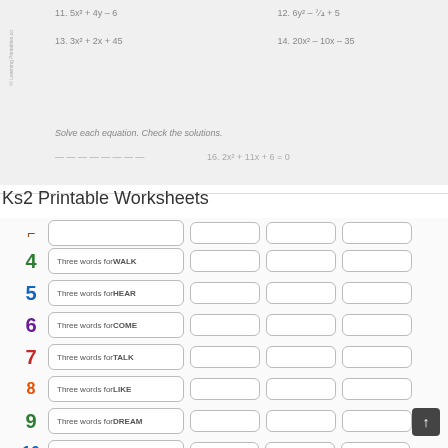[Figure (screenshot): Partial view of a math worksheet showing polynomial expressions: 11. 5x² + 4y - 6, 12. 6y² - 7/4 + 5, 13. 3x² + 2x + 45, 14. 20x² - 10x - 35, with text 'Solve each equation. Check the solutions.']
Ks2 Printable Worksheets
[Figure (screenshot): KS2 worksheet showing rows 4-10 with prompts: Three words for WALK, Three words for HEAR, Three words for COME, Three words for TALK, Three words for LIKE, Three words for DREAM, Three words for MEAN, each with three blank answer boxes.]